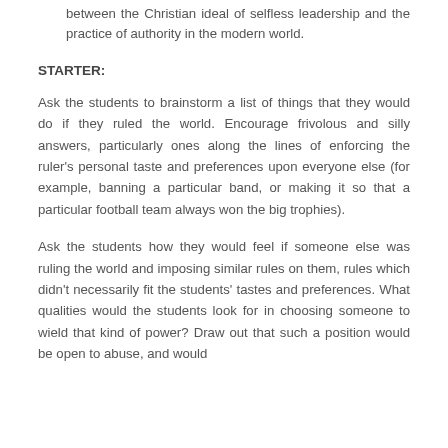between the Christian ideal of selfless leadership and the practice of authority in the modern world.
STARTER:
Ask the students to brainstorm a list of things that they would do if they ruled the world. Encourage frivolous and silly answers, particularly ones along the lines of enforcing the ruler’s personal taste and preferences upon everyone else (for example, banning a particular band, or making it so that a particular football team always won the big trophies).
Ask the students how they would feel if someone else was ruling the world and imposing similar rules on them, rules which didn’t necessarily fit the students’ tastes and preferences. What qualities would the students look for in choosing someone to wield that kind of power? Draw out that such a position would be open to abuse, and would